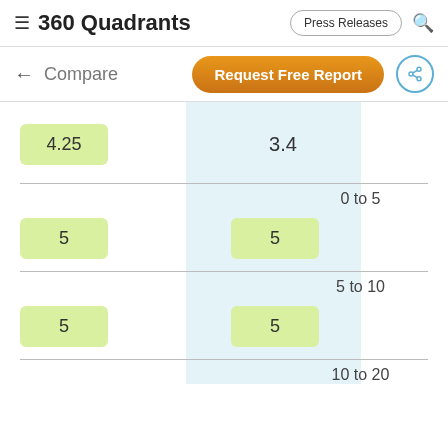≡ 360 Quadrants | Press Releases 🔍
← Compare | Request Free Report | Share
|  |  |
| --- | --- |
| 4.25 | 3.4 |
|  | 0 to 5 |
| 5 | 5 |
|  | 5 to 10 |
| 5 | 5 |
|  | 10 to 20 |